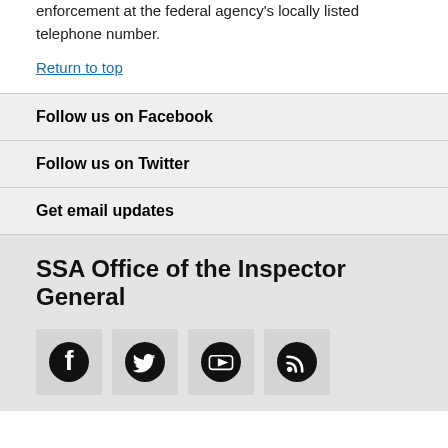enforcement at the federal agency's locally listed telephone number.
Return to top
Follow us on Facebook
Follow us on Twitter
Get email updates
SSA Office of the Inspector General
[Figure (logo): Four social media icons: Facebook, Twitter, YouTube, RSS feed]